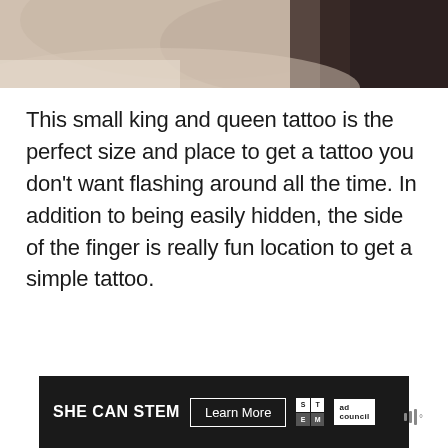[Figure (photo): Close-up photo of a hand/finger area with a tattoo, cropped at top of page]
This small king and queen tattoo is the perfect size and place to get a tattoo you don't want flashing around all the time. In addition to being easily hidden, the side of the finger is really fun location to get a simple tattoo.
[Figure (screenshot): Advertisement banner for SHE CAN STEM campaign with Learn More button, STEM logo, and Ad Council logo]
[Figure (other): Muted audio/media icon with bars]